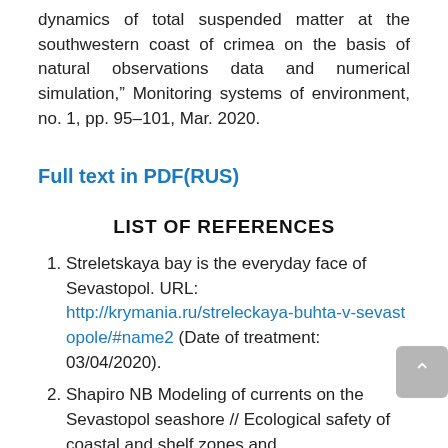dynamics of total suspended matter at the southwestern coast of crimea on the basis of natural observations data and numerical simulation," Monitoring systems of environment, no. 1, pp. 95–101, Mar. 2020.
Full text in PDF(RUS)
LIST OF REFERENCES
Streletskaya bay is the everyday face of Sevastopol. URL: http://krymania.ru/streleckaya-buhta-v-sevastopole/#name2 (Date of treatment: 03/04/2020).
Shapiro NB Modeling of currents on the Sevastopol seashore // Ecological safety of coastal and shelf zones and